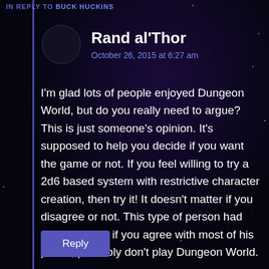IN REPLY TO BUCK HUCKINS
Rand al'Thor
October 26, 2015 at 6:27 am
I'm glad lots of people enjoyed Dungeon World, but do you really need to argue? This is just someone's opinion. It's supposed to help you decide if you want the game or not. If you feel willing to try a 2d6 based system with restrictive character creation, then try it! It doesn't matter if you disagree or not. This type of person had difficulties, so if you agree with most of his points, probably don't play Dungeon World.